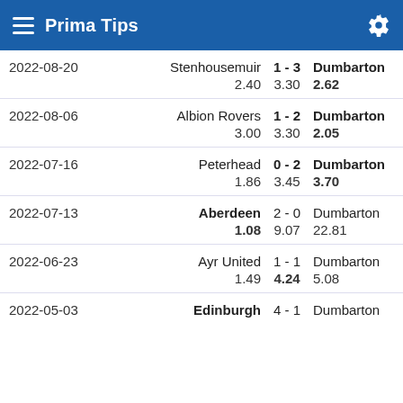Prima Tips
| Date | Home | Score | Away | Odds Home | Odds Draw | Odds Away |
| --- | --- | --- | --- | --- | --- | --- |
| 2022-08-20 | Stenhousemuir | 1 - 3 | Dumbarton | 2.40 | 3.30 | 2.62 |
| 2022-08-06 | Albion Rovers | 1 - 2 | Dumbarton | 3.00 | 3.30 | 2.05 |
| 2022-07-16 | Peterhead | 0 - 2 | Dumbarton | 1.86 | 3.45 | 3.70 |
| 2022-07-13 | Aberdeen | 2 - 0 | Dumbarton | 1.08 | 9.07 | 22.81 |
| 2022-06-23 | Ayr United | 1 - 1 | Dumbarton | 1.49 | 4.24 | 5.08 |
| 2022-05-03 | Edinburgh | 4 - 1 | Dumbarton |  |  |  |